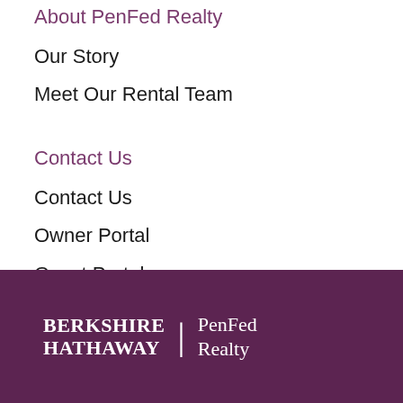About PenFed Realty
Our Story
Meet Our Rental Team
Contact Us
Contact Us
Owner Portal
Guest Portal
[Figure (logo): Berkshire Hathaway | PenFed Realty logo on dark purple background]